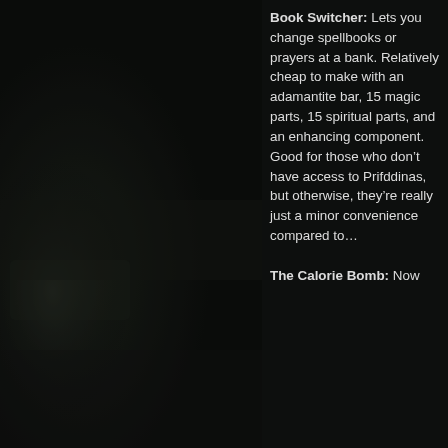[Figure (photo): Dark screenshot from a video game, showing a dark environment with minimal lighting, mostly black/dark green tones on the left side of the page.]
Book Switcher: Lets you change spellbooks or prayers at a bank. Relatively cheap to make with an adamantite bar, 15 magic parts, 15 spiritual parts, and an enhancing component. Good for those who don't have access to Prifddinas, but otherwise, they're really just a minor convenience compared to…

The Calorie Bomb: Now